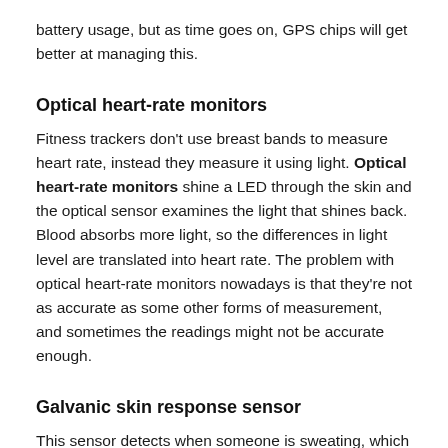battery usage, but as time goes on, GPS chips will get better at managing this.
Optical heart-rate monitors
Fitness trackers don't use breast bands to measure heart rate, instead they measure it using light. Optical heart-rate monitors shine a LED through the skin and the optical sensor examines the light that shines back. Blood absorbs more light, so the differences in light level are translated into heart rate. The problem with optical heart-rate monitors nowadays is that they're not as accurate as some other forms of measurement, and sometimes the readings might not be accurate enough.
Galvanic skin response sensor
This sensor detects when someone is sweating, which